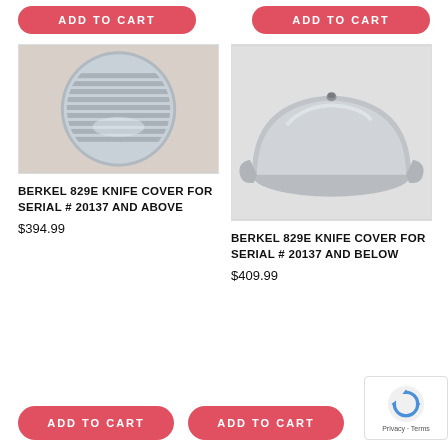[Figure (other): ADD TO CART button (top left)]
[Figure (other): ADD TO CART button (top right)]
[Figure (photo): Photo of Berkel 829E knife cover for serial # 20137 and above - circular ribbed metal disc]
BERKEL 829E KNIFE COVER FOR SERIAL # 20137 AND ABOVE
$394.99
[Figure (photo): Photo of Berkel 829E knife cover for serial # 20137 and below - dome-shaped metal cover]
BERKEL 829E KNIFE COVER FOR SERIAL # 20137 AND BELOW
$409.99
[Figure (other): ADD TO CART button (bottom left)]
[Figure (other): ADD TO CART button (bottom right)]
[Figure (other): reCAPTCHA badge with Privacy - Terms]